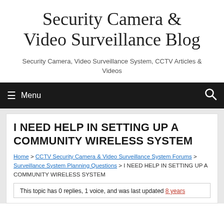Security Camera & Video Surveillance Blog
Security Camera, Video Surveillance System, CCTV Articles & Videos
Menu
I NEED HELP IN SETTING UP A COMMUNITY WIRELESS SYSTEM
Home > CCTV Security Camera & Video Surveillance System Forums > Surveillance System Planning Questions > I NEED HELP IN SETTING UP A COMMUNITY WIRELESS SYSTEM
This topic has 0 replies, 1 voice, and was last updated 8 years